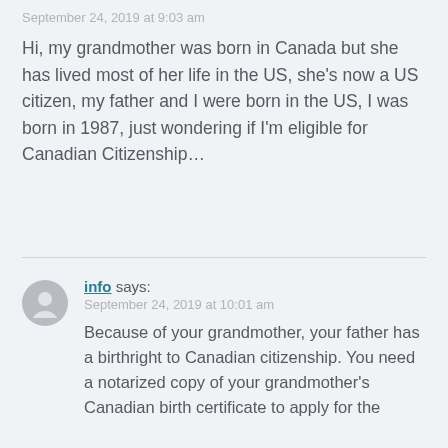September 24, 2019 at 9:03 am
Hi, my grandmother was born in Canada but she has lived most of her life in the US, she's now a US citizen, my father and I were born in the US, I was born in 1987, just wondering if I'm eligible for Canadian Citizenship…
info says:
September 24, 2019 at 10:01 am
Because of your grandmother, your father has a birthright to Canadian citizenship. You need a notarized copy of your grandmother's Canadian birth certificate to apply for the